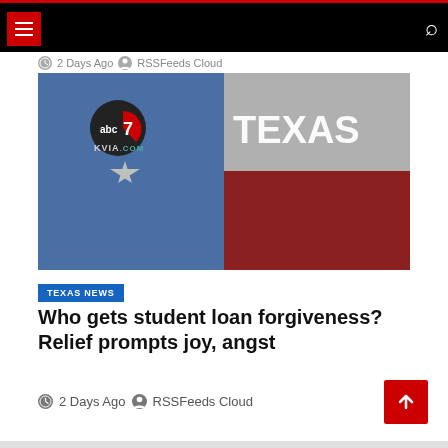Navigation bar with hamburger menu and search icon
2 Days Ago  RSSFeeds Cloud
[Figure (photo): KVIA ABC7 Texas news thumbnail showing a Texas flag motif painted on a brick wall split into blue (left) with the abc7 KVIA.com logo and lone star, and gray/red (right) with TEXAS text]
TEXAS NEWS
Who gets student loan forgiveness? Relief prompts joy, angst
2 Days Ago  RSSFeeds Cloud